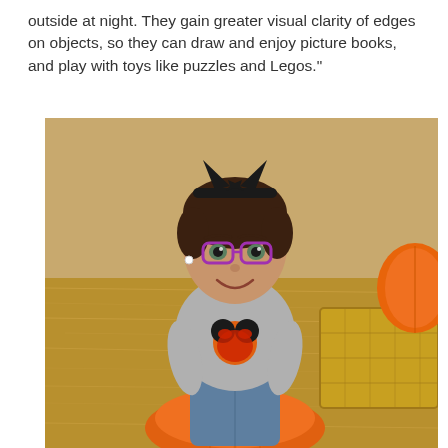outside at night. They gain greater visual clarity of edges on objects, so they can draw and enjoy picture books, and play with toys like puzzles and Legos."
[Figure (photo): A young girl wearing purple glasses and a black cat headband bow sits smiling on a large orange pumpkin at a pumpkin patch. She wears a grey long-sleeve shirt with a Mickey Mouse Halloween graphic and blue jeans. A hay bale and another orange pumpkin are visible in the background.]